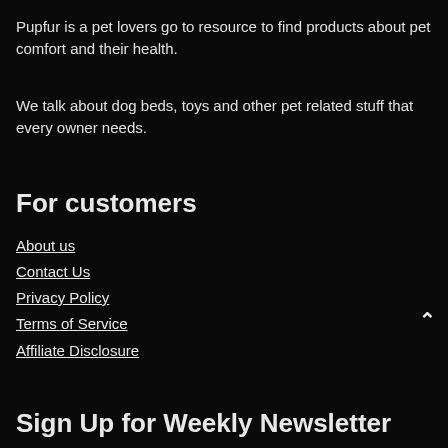Pupfur is a pet lovers go to resource to find products about pet comfort and their health.
We talk about dog beds, toys and other pet related stuff that every owner needs.
For customers
About us
Contact Us
Privacy Policy
Terms of Service
Affiliate Disclosure
Sign Up for Weekly Newsletter